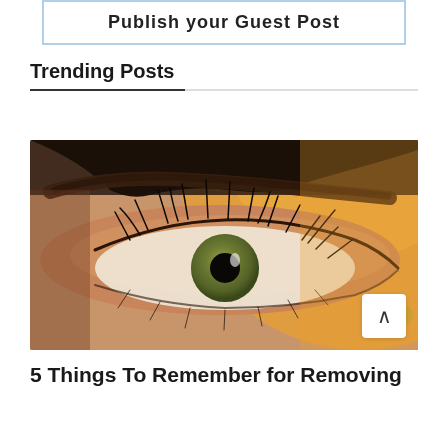[Figure (screenshot): Button with border labeled 'Publish your Guest Post']
Trending Posts
[Figure (photo): Close-up photo of a woman's eye with long eyelashes, orange/golden warm light illuminating the eye and surrounding skin, green iris visible]
5 Things To Remember for Removing